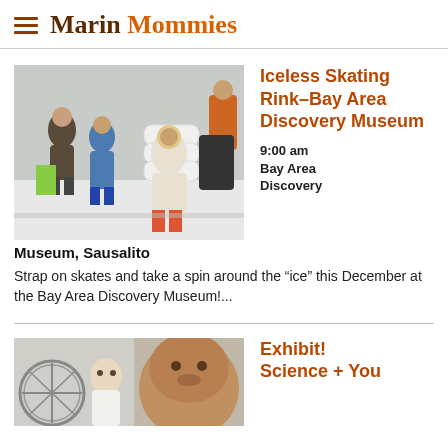Marin Mommies
[Figure (photo): Children skating on an iceless rink at Bay Area Discovery Museum]
Iceless Skating Rink–Bay Area Discovery Museum
9:00 am
Bay Area Discovery
Museum, Sausalito
Strap on skates and take a spin around the “ice” this December at the Bay Area Discovery Museum!...
[Figure (photo): Children at a science exhibit]
Exhibit! Science + You